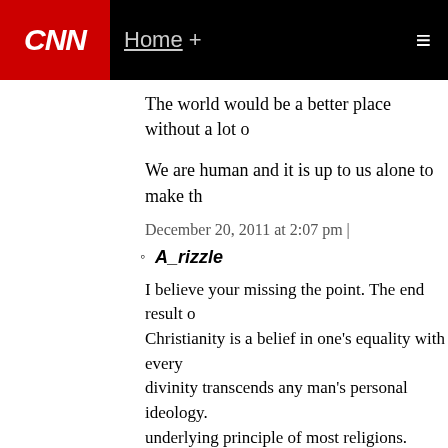CNN | Home +
The world would be a better place without a lot o...
We are human and it is up to us alone to make th...
December 20, 2011 at 2:07 pm |
A_rizzle
I believe your missing the point. The end result o... Christianity is a belief in one's equality with every... divinity transcends any man's personal ideology. ... underlying principle of most religions. Religion c... role in creating the idea of the individual, as ever... when confronted with god or transcendent. Indiv... out when considering the creation of civil libertie... against those who'd place themselves above oth...
December 20, 2011 at 2:16 pm |
8. Hypatia
Deifying anything is always stupid.